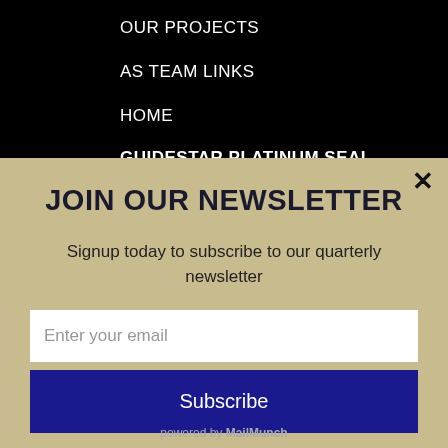OUR PROJECTS
AS TEAM LINKS
HOME
GUIDESTAR PLATINUM SEAL
JOIN OUR NEWSLETTER
Signup today to subscribe to our quarterly newsletter
Enter your email
Subscribe
powered by MailMunch